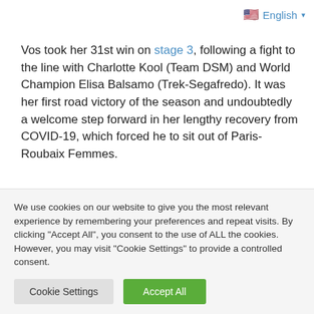🇺🇸 English ▾
Vos took her 31st win on stage 3, following a fight to the line with Charlotte Kool (Team DSM) and World Champion Elisa Balsamo (Trek-Segafredo). It was her first road victory of the season and undoubtedly a welcome step forward in her lengthy recovery from COVID-19, which forced he to sit out of Paris-Roubaix Femmes.
She went on to win stage 6 – her 32nd career stage win at the Giro – from a small front group ahead of Lotte Kopecky (SD
We use cookies on our website to give you the most relevant experience by remembering your preferences and repeat visits. By clicking "Accept All", you consent to the use of ALL the cookies. However, you may visit "Cookie Settings" to provide a controlled consent.
Cookie Settings | Accept All